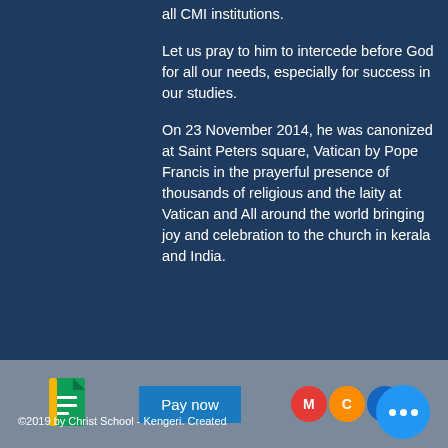all CMI institutions.
Let us pray to him to intercede before God for all our needs, especially for success in our studies.
On 23 November 2014, he was canonized at Saint Peters square, Vatican by Pope Francis in the prayerful presence of thousands of religious and the laity at Vatican and All around the world bringing joy and celebration to the church in kerala and India.
[Figure (logo): Google Forms icon (yellow and green)]
[Figure (other): Pay now button (blue)]
[Figure (logo): MCB circular icons (red M, orange C, blue B) with a blue dots button]
©2019 by Christ School - Kengeri. Created